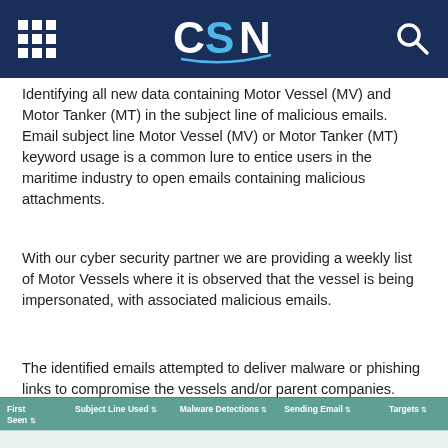CSN
Identifying all new data containing Motor Vessel (MV) and Motor Tanker (MT) in the subject line of malicious emails.  Email subject line Motor Vessel (MV) or Motor Tanker (MT) keyword usage is a common lure to entice users in the maritime industry to open emails containing malicious attachments.
With our cyber security partner we are providing a weekly list of Motor Vessels where it is observed that the vessel is being impersonated, with associated malicious emails.
The identified emails attempted to deliver malware or phishing links to compromise the vessels and/or parent companies.  Users should be aware of the subject lines used and the email addresses that are attempting to deliver the messages.
| First Seen | Subject Line Used | Malware Detections | Sending Email | Targets |
| --- | --- | --- | --- | --- |